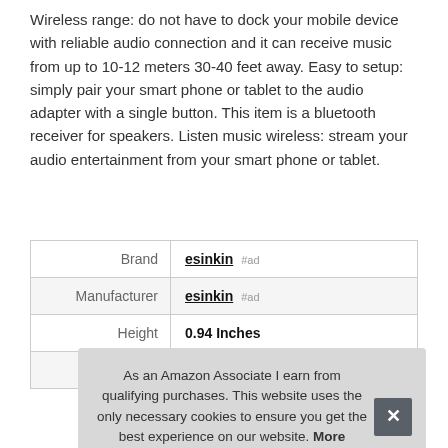Wireless range: do not have to dock your mobile device with reliable audio connection and it can receive music from up to 10-12 meters 30-40 feet away. Easy to setup: simply pair your smart phone or tablet to the audio adapter with a single button. This item is a bluetooth receiver for speakers. Listen music wireless: stream your audio entertainment from your smart phone or tablet.
|  |  |
| --- | --- |
| Brand | esinkin #ad |
| Manufacturer | esinkin #ad |
| Height | 0.94 Inches |
| Part Number | W29-us |
As an Amazon Associate I earn from qualifying purchases. This website uses the only necessary cookies to ensure you get the best experience on our website. More information